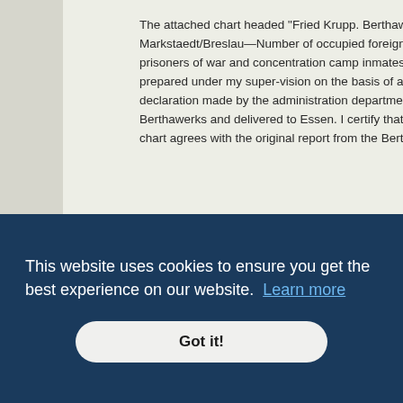The attached chart headed "Fried Krupp. Berthawerk Markstaedt/Breslau—Number of occupied foreigners, prisoners of war and concentration camp inmates," was prepared under my super-vision on the basis of a declaration made by the administration department of the Berthawerks and delivered to Essen. I certify that the chart agrees with the original report from the Berthawerk.
Dr. Georg Wolff.
Albert D. Friar. Capt.
Court President.
Mil. Gov. Stamp.
FRIED. KRUPP BERTHAWERK
Markstaedt/Breslau.
November 1st 1943 2 773 338